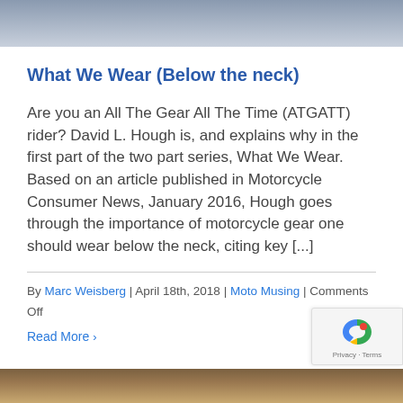[Figure (photo): Partial photo of a person wearing a dark shirt, cropped at neck level, white background below]
What We Wear (Below the neck)
Are you an All The Gear All The Time (ATGATT) rider? David L. Hough is, and explains why in the first part of the two part series, What We Wear. Based on an article published in Motorcycle Consumer News, January 2016, Hough goes through the importance of motorcycle gear one should wear below the neck, citing key [...]
By Marc Weisberg | April 18th, 2018 | Moto Musing | Comments Off
Read More >
[Figure (photo): Partial photo at bottom of page, colorful/textured image, cropped]